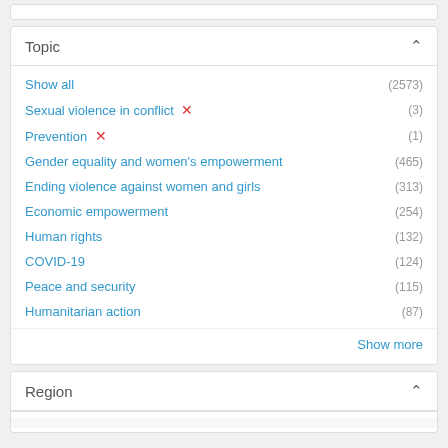Topic
Show all (2573)
Sexual violence in conflict ✗ (3)
Prevention ✗ (1)
Gender equality and women's empowerment (465)
Ending violence against women and girls (313)
Economic empowerment (254)
Human rights (132)
COVID-19 (124)
Peace and security (115)
Humanitarian action (87)
Show more
Region